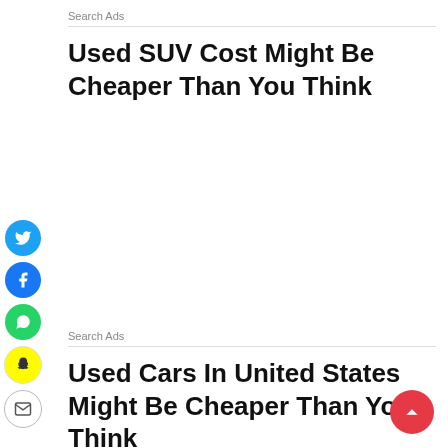Search Ads
Used SUV Cost Might Be Cheaper Than You Think
[Figure (infographic): Social media share buttons: Twitter (blue), Facebook (blue), WhatsApp (green), Snapchat (yellow), Email (white)]
Search Ads
Used Cars In United States Might Be Cheaper Than You Think
[Figure (other): Red scroll-to-top circular button with upward arrow]